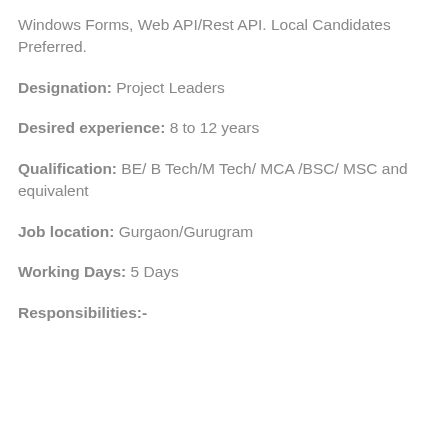Windows Forms, Web API/Rest API. Local Candidates Preferred.
Designation: Project Leaders
Desired experience: 8 to 12 years
Qualification: BE/ B Tech/M Tech/ MCA /BSC/ MSC and equivalent
Job location: Gurgaon/Gurugram
Working Days: 5 Days
Responsibilities:-